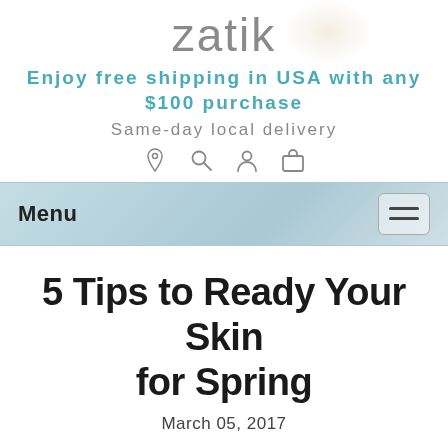zatik
Enjoy free shipping in USA with any $100 purchase
Same-day local delivery
5 Tips to Ready Your Skin for Spring
March 05, 2017
Warmer weather is finally just around the corner. And while